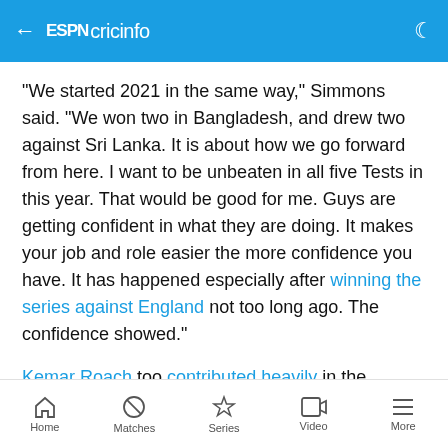ESPN cricinfo
"We started 2021 in the same way," Simmons said. "We won two in Bangladesh, and drew two against Sri Lanka. It is about how we go forward from here. I want to be unbeaten in all five Tests in this year. That would be good for me. Guys are getting confident in what they are doing. It makes your job and role easier the more confidence you have. It has happened especially after winning the series against England not too long ago. The confidence showed."
Kemar Roach too contributed heavily in the Antigua win, after nearly missing the game. The 33-year old
Home  Matches  Series  Video  More